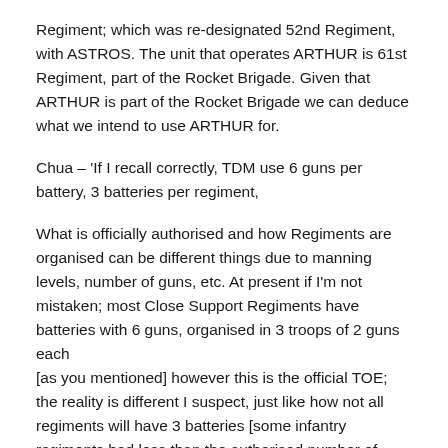Regiment; which was re-designated 52nd Regiment, with ASTROS. The unit that operates ARTHUR is 61st Regiment, part of the Rocket Brigade. Given that ARTHUR is part of the Rocket Brigade we can deduce what we intend to use ARTHUR for.
Chua – 'If I recall correctly, TDM use 6 guns per battery, 3 batteries per regiment,
What is officially authorised and how Regiments are organised can be different things due to manning levels, number of guns, etc. At present if I'm not mistaken; most Close Support Regiments have batteries with 6 guns, organised in 3 troops of 2 guns each
[as you mentioned] however this is the official TOE; the reality is different I suspect, just like how not all regiments will have 3 batteries [some infantry regiments had less than the authorised number of companies].
The term “regiment” can be confusing :] Following British practice it can mean a regiment [what other armies would call